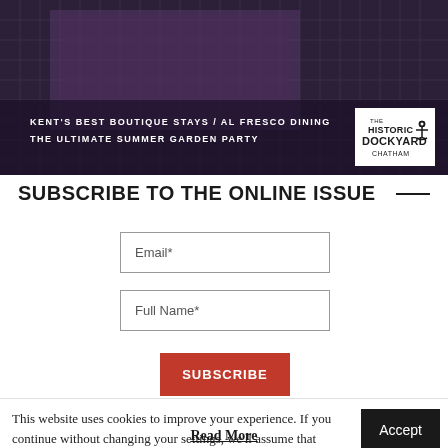[Figure (screenshot): Banner image of a magazine cover featuring a dark industrial background (chain-link fence, purple-tinted building). White text reads: KENT'S BEST BOUTIQUE STAYS / AL FRESCO DINING / THE ULTIMATE SUMMER GARDEN PARTY. A white logo in top-right corner reads THE HISTORIC DOCKYARD CHATHAM with an anchor icon.]
SUBSCRIBE TO THE ONLINE ISSUE
Email*
Full Name*
SUBSCRIBE
This website uses cookies to improve your experience. If you continue without changing your settings, we'll assume that you're happy to receive all cookies on the insideKENT website.
Accept
Read More